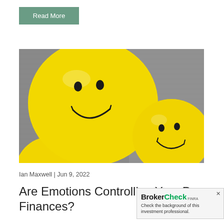Read More
[Figure (photo): Three yellow smiley face balloons against a grey carpet background. One large balloon is prominent in the center-left, and a second is visible in the lower right. A third partial balloon appears at the bottom left.]
Ian Maxwell | Jun 9, 2022
Are Emotions Controlling Your Personal Finances?
[Figure (other): BrokerCheck FINRA overlay widget with close button (x), BrokerCheck logo in green and black, FINRA subtext, and message: Check the background of this investment professional.]